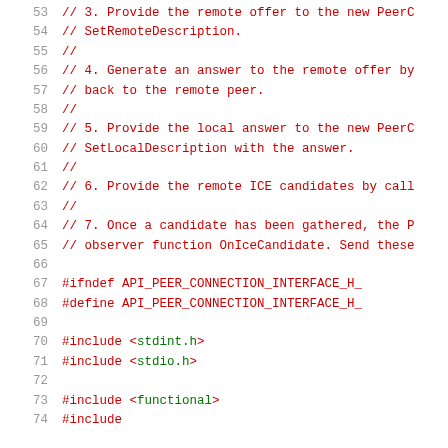[Figure (screenshot): Source code listing showing C++ header file lines 53-74, with line numbers in gray on the left and code in dark red monospace font. Comments describe WebRTC PeerConnection steps, followed by preprocessor directives and include statements.]